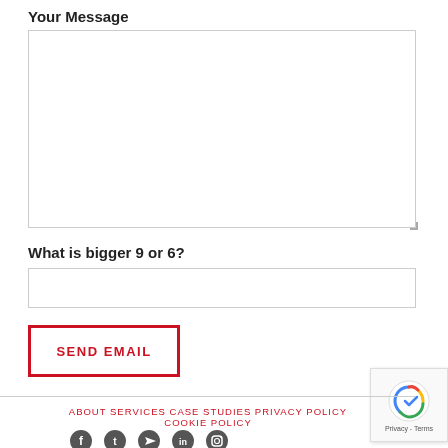Your Message
[Figure (screenshot): Empty textarea input field for user message]
What is bigger 9 or 6?
[Figure (screenshot): Empty text input field for captcha answer]
[Figure (screenshot): SEND EMAIL button with red border]
[Figure (screenshot): reCAPTCHA badge with Privacy - Terms text]
ABOUT   SERVICES   CASE STUDIES   PRIVACY POLICY   COOKIE POLICY